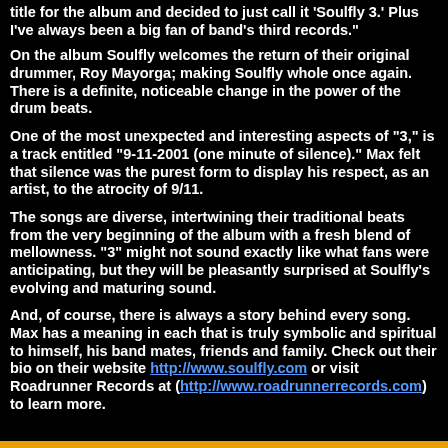title for the album and decided to just call it 'Soulfly 3.' Plus I've always been a big fan of band's third records."
On the album Soulfly welcomes the return of their original drummer, Roy Mayorga; making Soulfly whole once again. There is a definite, noticeable change in the power of the drum beats.
One of the most unexpected and interesting aspects of "3," is a track entitled "9-11-2001 (one minute of silence)." Max felt that silence was the purest form to display his respect, as an artist, to the atrocity of 9/11.
The songs are diverse, intertwining their traditional beats from the very beginning of the album with a fresh blend of mellowness. "3" might not sound exactly like what fans were anticipating, but they will be pleasantly surprised at Soulfly's evolving and maturing sound.
And, of course, there is always a story behind every song. Max has a meaning in each that is truly symbolic and spiritual to himself, his band mates, friends and family. Check out their bio on their website http://www.soulfly.com or visit Roadrunner Records at (http://www.roadrunnerrecords.com) to learn more.